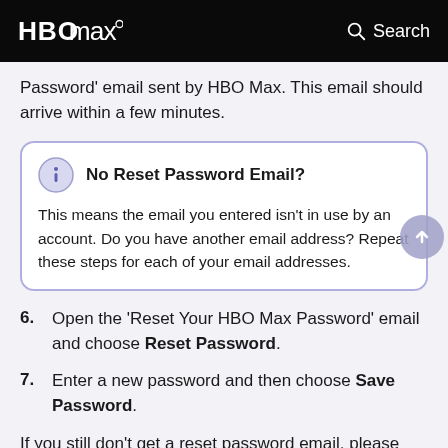HBO Max  Search
Password' email sent by HBO Max. This email should arrive within a few minutes.
No Reset Password Email? This means the email you entered isn't in use by an account. Do you have another email address? Repeat these steps for each of your email addresses.
6. Open the 'Reset Your HBO Max Password' email and choose Reset Password.
7. Enter a new password and then choose Save Password.
If you still don't get a reset password email, please see